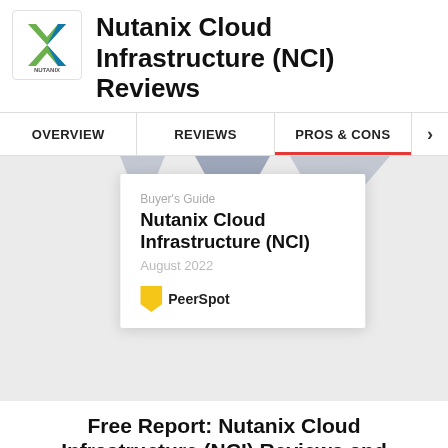Nutanix Cloud Infrastructure (NCI) Reviews
[Figure (logo): Nutanix logo — stylized X shape with green and blue colors, 'NUTANIX' text below]
OVERVIEW | REVIEWS | PROS & CONS
[Figure (illustration): PeerSpot Buyer's Guide booklet card showing title: Nutanix Cloud Infrastructure (NCI), dated August 2022, with PeerSpot logo. Blue-grey geometric triangles decorating the top of the card. Card displayed on light grey background.]
Buyer's Guide
Nutanix Cloud Infrastructure (NCI)
August 2022
PeerSpot
Free Report: Nutanix Cloud Infrastructure (NCI) Reviews and